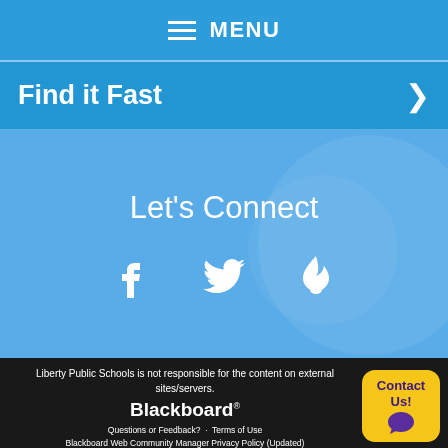MENU
Find it Fast
Let's Connect
[Figure (infographic): Three social media icons: Facebook, Twitter, and a flame/torch icon, displayed in white on a blue background]
Liberty Public Schools is not responsible for the content on external sites/servers.
Blackboard®
Questions or Feedback?  ·  Terms of Use
Blackboard Web Community Manager Privacy Policy (Updated)
Copyright © 2002-2022 Blackboard, Inc. All rights reserved.
[Figure (other): Contact Us button with yellow background, purple text, and speech bubble icon]